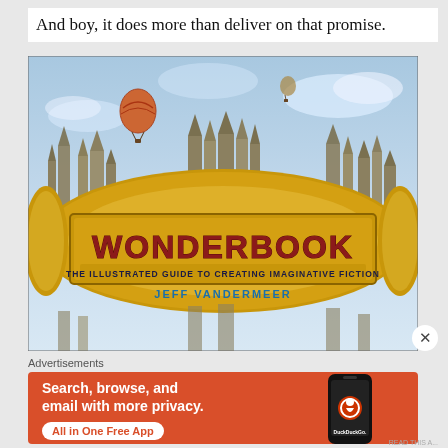And boy, it does more than deliver on that promise.
[Figure (illustration): Book cover of 'Wonderbook: The Illustrated Guide to Creating Imaginative Fiction' by Jeff VanderMeer, showing a fantastical cityscape with castle spires, hot air balloons, and a large ornate gold-and-red marquee sign with the title.]
Advertisements
[Figure (screenshot): DuckDuckGo advertisement banner: 'Search, browse, and email with more privacy. All in One Free App' with DuckDuckGo logo on an orange background with a smartphone image.]